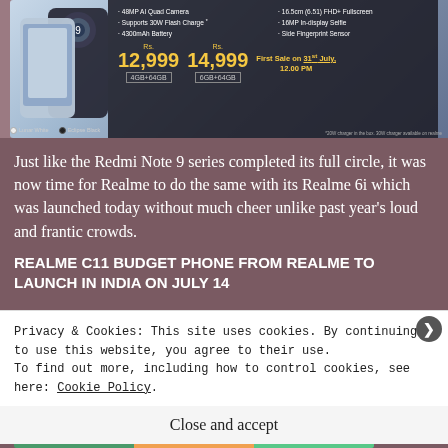[Figure (photo): Realme 6i smartphone product image showing two phones (Lunar White and Eclipse Black) with product specifications: 48MP AI Quad Camera, Supports 30W Flash Charge, 4300mAh Battery, 16.5cm (6.51) FHD+ Fullscreen, 16MP In-display Selfie, Side Fingerprint Sensor. Prices shown: Rs.12,999 for 4GB+64GB and Rs.14,999 for 6GB+64GB. First Sale on 31st July, 12:00 PM.]
Just like the Redmi Note 9 series completed its full circle, it was now time for Realme to do the same with its Realme 6i which was launched today without much cheer unlike past year's loud and frantic crowds.
REALME C11 BUDGET PHONE FROM REALME TO LAUNCH IN INDIA ON JULY 14
[Figure (photo): Partial view of Realme C11 smartphone in green/mint color with orange accent visible]
Privacy & Cookies: This site uses cookies. By continuing to use this website, you agree to their use.
To find out more, including how to control cookies, see here: Cookie Policy
Close and accept